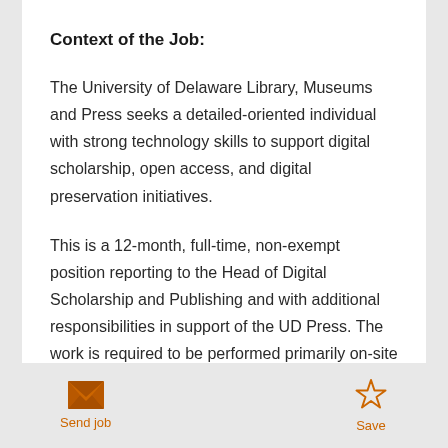Context of the Job:
The University of Delaware Library, Museums and Press seeks a detailed-oriented individual with strong technology skills to support digital scholarship, open access, and digital preservation initiatives.
This is a 12-month, full-time, non-exempt position reporting to the Head of Digital Scholarship and Publishing and with additional responsibilities in support of the UD Press. The work is required to be performed primarily on-site
Send job   Save